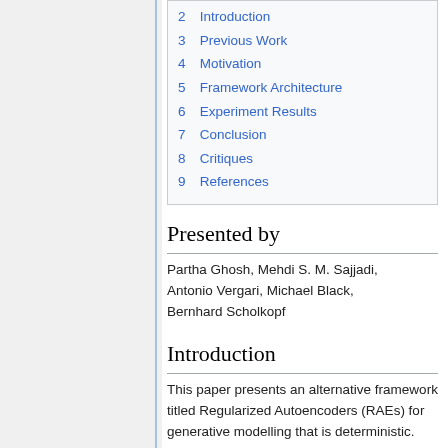2 Introduction
3 Previous Work
4 Motivation
5 Framework Architecture
6 Experiment Results
7 Conclusion
8 Critiques
9 References
Presented by
Partha Ghosh, Mehdi S. M. Sajjadi, Antonio Vergari, Michael Black, Bernhard Scholkopf
Introduction
This paper presents an alternative framework titled Regularized Autoencoders (RAEs) for generative modelling that is deterministic. They